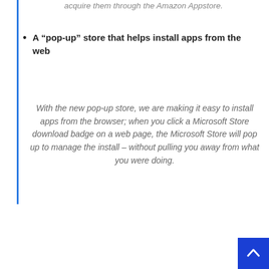acquire them through the Amazon Appstore.
A “pop-up” store that helps install apps from the web
With the new pop-up store, we are making it easy to install apps from the browser; when you click a Microsoft Store download badge on a web page, the Microsoft Store will pop up to manage the install – without pulling you away from what you were doing.